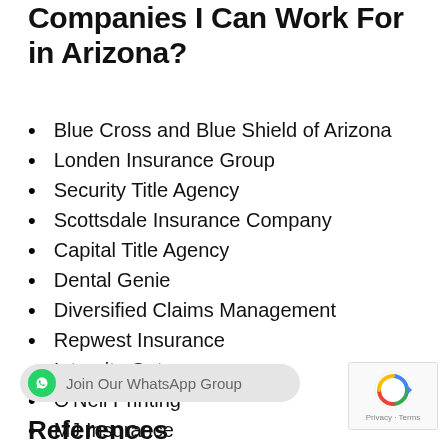Companies I Can Work For in Arizona?
Blue Cross and Blue Shield of Arizona
Londen Insurance Group
Security Title Agency
Scottsdale Insurance Company
Capital Title Agency
Dental Genie
Diversified Claims Management
Repwest Insurance
Integrity Outsource
O'Neil Printing
MJ Insurance
LeBaron & Carroll
References